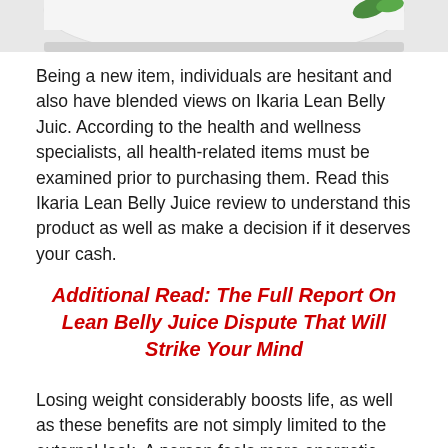[Figure (photo): Partial bottom view of a white container/jar with green leaf decoration, cropped at top of page]
Being a new item, individuals are hesitant and also have blended views on Ikaria Lean Belly Juic. According to the health and wellness specialists, all health-related items must be examined prior to purchasing them. Read this Ikaria Lean Belly Juice review to understand this product as well as make a decision if it deserves your cash.
Additional Read: The Full Report On Lean Belly Juice Dispute That Will Strike Your Mind
Losing weight considerably boosts life, as well as these benefits are not simply limited to the external look. A person feels more energetic